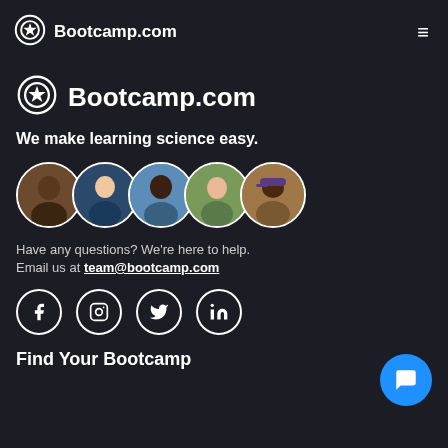Bootcamp.com
[Figure (logo): Bootcamp.com logo with star-in-circle icon and brand name]
We make learning science easy.
[Figure (photo): Row of 5 overlapping circular avatar photos of team members]
Have any questions? We're here to help.
Email us at team@bootcamp.com
[Figure (infographic): Row of social media icons: Facebook, Instagram, Twitter, LinkedIn]
Find Your Bootcamp